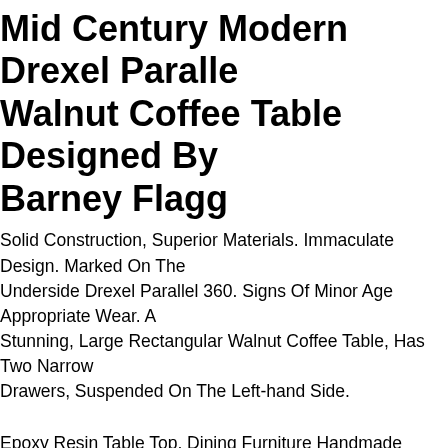Mid Century Modern Drexel Parallel Walnut Coffee Table Designed By Barney Flagg
Solid Construction, Superior Materials. Immaculate Design. Marked On The Underside Drexel Parallel 360. Signs Of Minor Age Appropriate Wear. A Stunning, Large Rectangular Walnut Coffee Table, Has Two Narrow Drawers, Suspended On The Left-hand Side.
Epoxy Resin Table Top, Dining Furniture Handmade Design Art, Kitchen Home Decors. With Its Perfect Combination Of Style And Function This Piece Of Furniture Is Sure To Be The Star Of Any Room. Each One Is Created With High Quality Resin And Individually Handcrafted. All Tables Are Finished To The Highest Standard.
Chest Wooden Walnut, Period Nineteenth Century/ Chest/ Chest Walnut